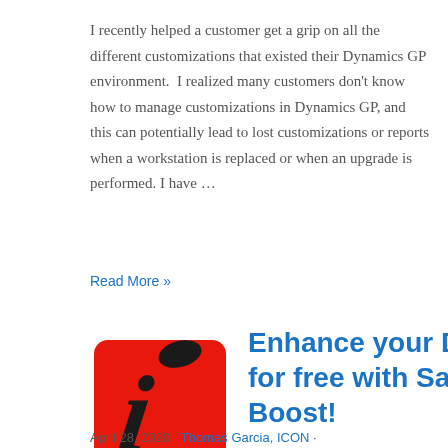I recently helped a customer get a grip on all the different customizations that existed their Dynamics GP environment.  I realized many customers don't know how to manage customizations in Dynamics GP, and this can potentially lead to lost customizations or reports when a workstation is replaced or when an upgrade is performed. I have …
Read More »
[Figure (logo): Red square logo with italic black letter i and small black oval above, on white background]
Enhance your Dynamics GP for free with SalesPad Boost!
April 28, 2020 · Thomas Garcia, ICON ·